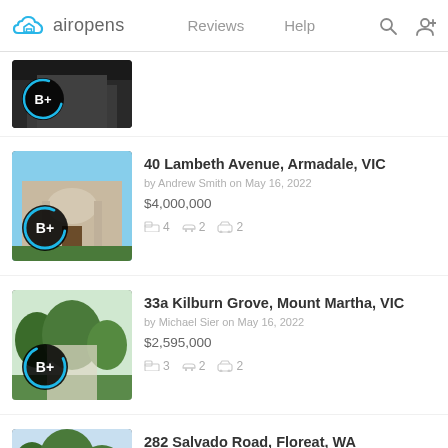airopens | Reviews | Help
[Figure (screenshot): Partial property listing card showing a building exterior with B+ rating badge and blue circular progress indicator]
40 Lambeth Avenue, Armadale, VIC
by Andrew Smith on May 16, 2022
$4,000,000
4 beds 2 baths 2 cars
33a Kilburn Grove, Mount Martha, VIC
by Michael Sier on May 16, 2022
$2,595,000
3 beds 2 baths 2 cars
282 Salvado Road, Floreat, WA
by Rowen Powell on May 11, 2022